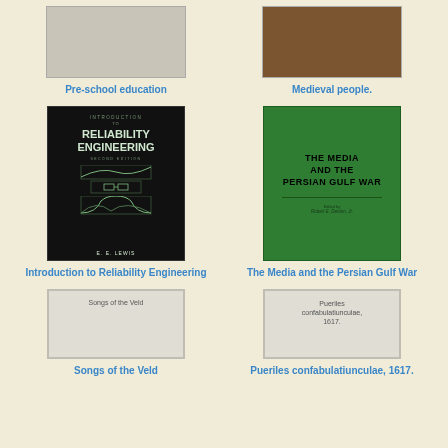[Figure (illustration): Book cover placeholder for Pre-school education]
Pre-school education
[Figure (illustration): Book cover image with figure for Medieval people]
Medieval people.
[Figure (illustration): Black book cover: Introduction to Reliability Engineering, Second Edition, E. E. Lewis]
Introduction to Reliability Engineering
[Figure (illustration): Green book cover: The Media and the Persian Gulf War, Edited by Robert E. Denton Jr.]
The Media and the Persian Gulf War
[Figure (illustration): Book cover placeholder for Songs of the Veld]
Songs of the Veld
[Figure (illustration): Book cover placeholder for Pueriles confabulatiunculae, 1617.]
Pueriles confabulatiunculae, 1617.